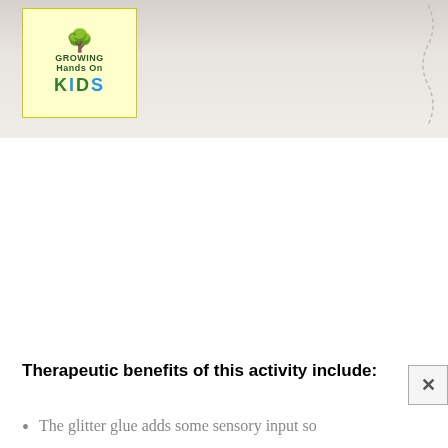[Figure (photo): Photo of a Growing Hands On Kids branded worksheet with a wavy dotted line pattern on the right side, against a light gray/beige background. The Growing Hands On Kids logo is visible in the top left corner.]
Therapeutic benefits of this activity include:
The glitter glue adds some sensory input so